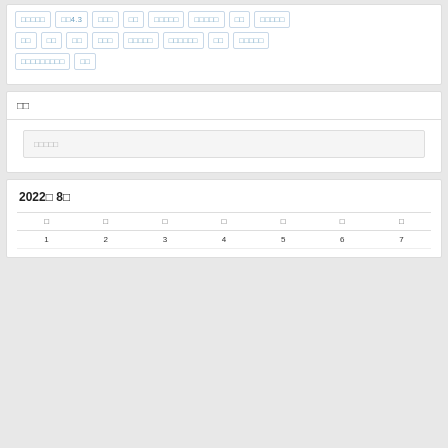□□□□□ □□4.3 □□□ □□ □□□□□ □□□□□ □□ □□□□□
□□ □□ □□ □□□ □□□□□ □□□□□□ □□ □□□□□
□□□□□□□□□ □□
□□
□□□□□
2022□ 8□
| □ | □ | □ | □ | □ | □ | □ |
| --- | --- | --- | --- | --- | --- | --- |
| 1 | 2 | 3 | 4 | 5 | 6 | 7 |